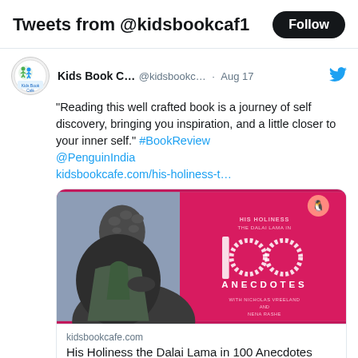Tweets from @kidsbookcaf1
"Reading this well crafted book is a journey of self discovery, bringing you inspiration, and a little closer to your inner self." #BookReview @PenguinIndia kidsbookcafe.com/his-holiness-t…
[Figure (photo): Photo of a book 'His Holiness the Dalai Lama in 100 Anecdotes' with a pink cover next to a dark Buddha figurine]
kidsbookcafe.com
His Holiness the Dalai Lama in 100 Anecdotes [Review] - Kids Book Café